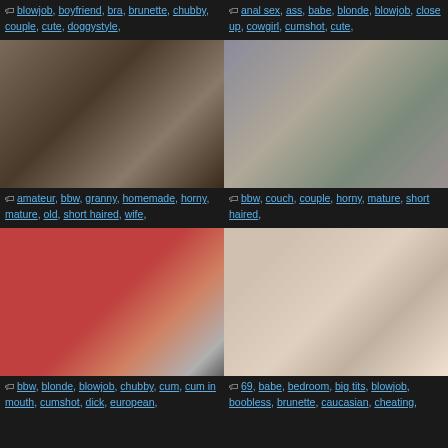blowjob, boyfriend, bra, brunette, chubby, couple, cute, doggystyle,
anal sex, ass, babe, blonde, blowjob, close up, cowgirl, cumshot, cute,
[Figure (photo): Amateur video thumbnail showing couple]
[Figure (photo): Mature couple video thumbnail]
amateur, bbw, granny, homemade, horny, mature, old, short haired, wife,
bbw, couch, couple, horny, mature, short haired,
[Figure (photo): BBW blonde video thumbnail]
[Figure (photo): Two women video thumbnail]
bbw, blonde, blowjob, chubby, cum, cum in mouth, cumshot, dick, european,
69, babe, bedroom, big tits, blowjob, boobless, brunette, caucasian, cheating,